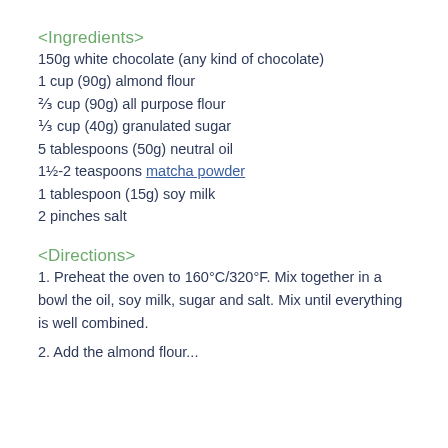<Ingredients>
150g white chocolate (any kind of chocolate)
1 cup (90g) almond flour
⅔ cup (90g) all purpose flour
⅓ cup (40g) granulated sugar
5 tablespoons (50g) neutral oil
1½-2 teaspoons matcha powder
1 tablespoon (15g) soy milk
2 pinches salt
<Directions>
1. Preheat the oven to 160°C/320°F. Mix together in a bowl the oil, soy milk, sugar and salt. Mix until everything is well combined.
2. Add the almond flour...